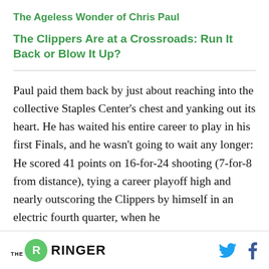The Ageless Wonder of Chris Paul
The Clippers Are at a Crossroads: Run It Back or Blow It Up?
Paul paid them back by just about reaching into the collective Staples Center's chest and yanking out its heart. He has waited his entire career to play in his first Finals, and he wasn't going to wait any longer: He scored 41 points on 16-for-24 shooting (7-for-8 from distance), tying a career playoff high and nearly outscoring the Clippers by himself in an electric fourth quarter, when he
THE RINGER